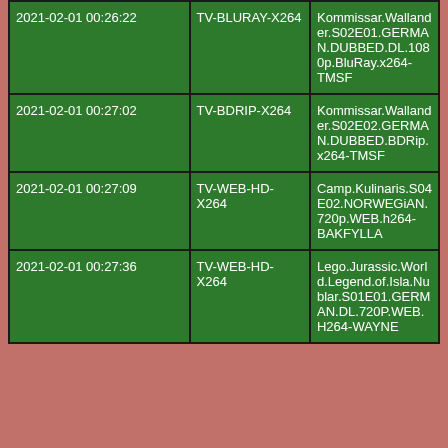| 2021-02-01 00:26:22 | TV-BLURAY-X264 | Kommissar.Wallander.S02E01.GERMAN.DUBBED.DL.1080p.BluRay.x264-TMSF |
| 2021-02-01 00:27:02 | TV-BDRIP-X264 | Kommissar.Wallander.S02E02.GERMAN.DUBBED.BDRip.x264-TMSF |
| 2021-02-01 00:27:09 | TV-WEB-HD-X264 | Camp.Kulinaris.S04E02.NORWEGiAN.720p.WEB.h264-BAKFYLLA |
| 2021-02-01 00:27:36 | TV-WEB-HD-X264 | Lego.Jurassic.World.Legend.of.Isla.Nublar.S01E01.GERMAN.DL.720P.WEB.H264-WAYNE |